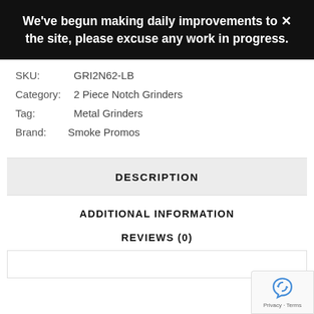We've begun making daily improvements to the site, please excuse any work in progress.
SKU:  GRI2N62-LB
Category:  2 Piece Notch Grinders
Tag:  Metal Grinders
Brand: Smoke Promos
DESCRIPTION
ADDITIONAL INFORMATION
REVIEWS (0)